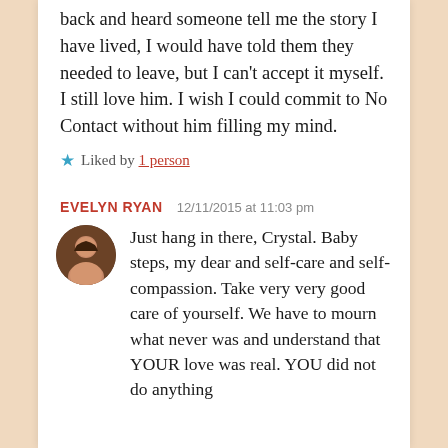back and heard someone tell me the story I have lived, I would have told them they needed to leave, but I can't accept it myself. I still love him. I wish I could commit to No Contact without him filling my mind.
★ Liked by 1 person
EVELYN RYAN   12/11/2015 at 11:03 pm
Just hang in there, Crystal. Baby steps, my dear and self-care and self-compassion. Take very very good care of yourself. We have to mourn what never was and understand that YOUR love was real. YOU did not do anything